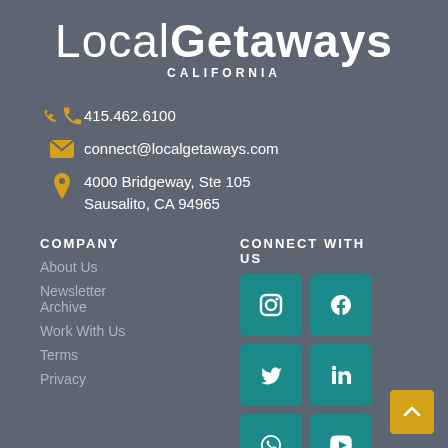LocalGetaways CALIFORNIA
415.462.6100
connect@localgetaways.com
4000 Bridgeway, Ste 105
Sausalito, CA 94965
COMPANY
CONNECT WITH US
About Us
Newsletter Archive
Work With Us
Terms
Privacy
[Figure (infographic): Social media icons in teal rounded square buttons: Instagram, Facebook, Twitter, LinkedIn, Pinterest, YouTube, and a partially visible icon at the bottom]